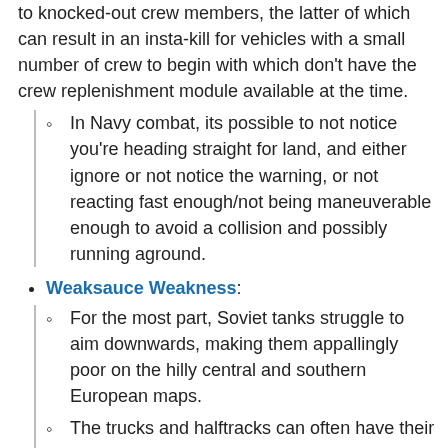to knocked-out crew members, the latter of which can result in an insta-kill for vehicles with a small number of crew to begin with which don't have the crew replenishment module available at the time.
In Navy combat, its possible to not notice you're heading straight for land, and either ignore or not notice the warning, or not reacting fast enough/not being maneuverable enough to avoid a collision and possibly running aground.
Weaksauce Weakness:
For the most part, Soviet tanks struggle to aim downwards, making them appallingly poor on the hilly central and southern European maps.
The trucks and halftracks can often have their crew knocked out my a simple collision to the front engine, even against destroy-able terrain, at top speeds.
Any tank with only 2 crew members can and will die the moment one of them goes dead. This also makes